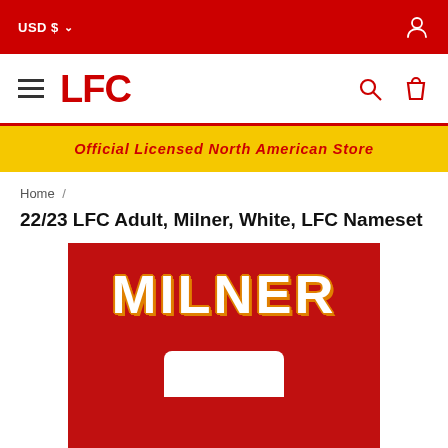USD $
LFC
Official Licensed North American Store
Home /
22/23 LFC Adult, Milner, White, LFC Nameset
[Figure (photo): LFC Nameset jersey product image showing 'MILNER' text in white with gold outline on a red background]